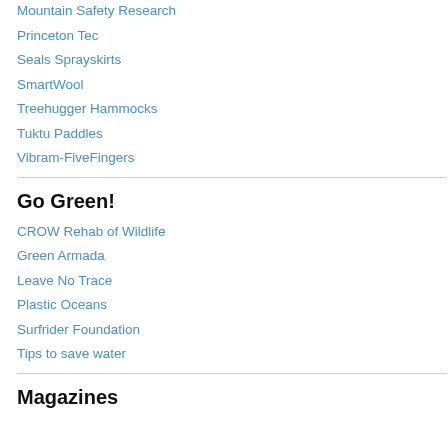Mountain Safety Research
Princeton Tec
Seals Sprayskirts
SmartWool
Treehugger Hammocks
Tuktu Paddles
Vibram-FiveFingers
Go Green!
CROW Rehab of Wildlife
Green Armada
Leave No Trace
Plastic Oceans
Surfrider Foundation
Tips to save water
Magazines